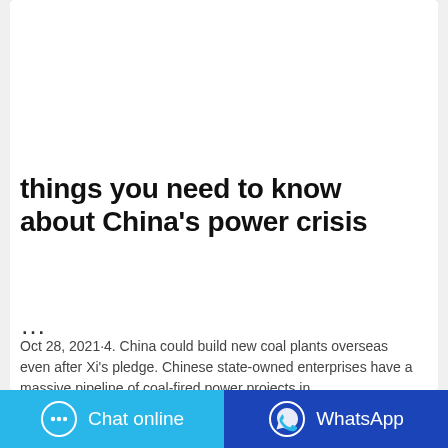[Figure (photo): Purple laundry detergent bottle (Clorox brand) shown from the back, placed on a white/grey surface]
things you need to know about China's power crisis
...
Oct 28, 2021·4. China could build new coal plants overseas even after Xi's pledge. Chinese state-owned enterprises have a massive pipeline of coal-fired power projects in …
[Figure (infographic): Bottom bar with two buttons: 'Chat online' (cyan/blue) with chat bubble icon, and 'WhatsApp' (dark blue) with WhatsApp icon]